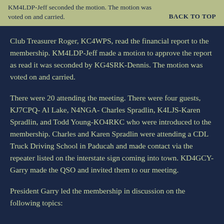KM4LDP-Jeff seconded the motion. The motion was voted on and carried. BACK TO TOP
Club Treasurer Roger, KC4WPS, read the financial report to the membership. KM4LDP-Jeff made a motion to approve the report as read it was seconded by KG4SRK-Dennis. The motion was voted on and carried.
There were 20 attending the meeting. There were four guests, KJ7CPQ- Al Lake, N4NGA- Charles Spradlin, K4LJS-Karen Spradlin, and Todd Young-KO4RKC who were introduced to the membership. Charles and Karen Spradlin were attending a CDL Truck Driving School in Paducah and made contact via the repeater listed on the interstate sign coming into town. KD4GCY-Garry made the QSO and invited them to our meeting.
President Garry led the membership in discussion on the following topics: